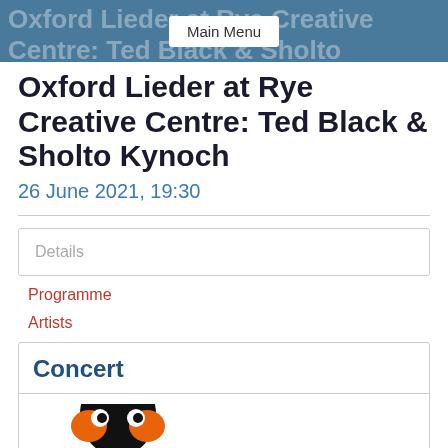Main Menu
Oxford Lieder at Rye Creative Centre: Ted Black & Sholto Kynoch
26 June 2021, 19:30
Details
Programme
Artists
Concert
[Figure (logo): Partial view of a penguin logo, black and orange/white coloring, cropped at bottom of page]